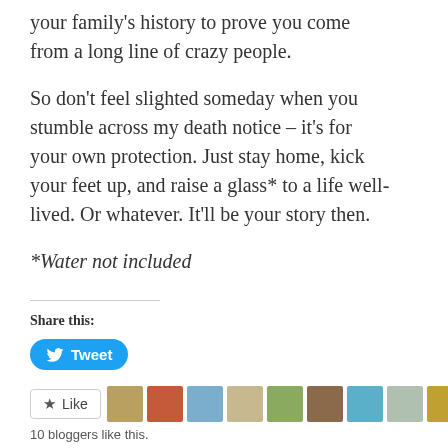your family's history to prove you come from a long line of crazy people.
So don't feel slighted someday when you stumble across my death notice – it's for your own protection. Just stay home, kick your feet up, and raise a glass* to a life well-lived. Or whatever. It'll be your story then.
*Water not included
Share this:
Tweet
10 bloggers like this.